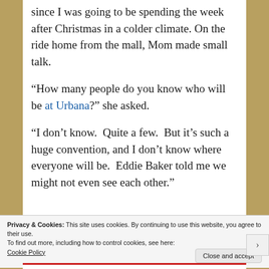since I was going to be spending the week after Christmas in a colder climate. On the ride home from the mall, Mom made small talk.
“How many people do you know who will be at Urbana?” she asked.
“I don’t know.  Quite a few.  But it’s such a huge convention, and I don’t know where everyone will be.  Eddie Baker told me we might not even see each other.”
Privacy & Cookies: This site uses cookies. By continuing to use this website, you agree to their use.
To find out more, including how to control cookies, see here: Cookie Policy